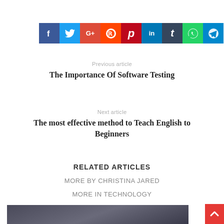[Figure (infographic): Social media share buttons bar: Facebook (blue), Twitter (light blue), Google+ (red), Reddit (orange-red), Pinterest (dark red), LinkedIn (blue), Tumblr (dark blue-grey), WhatsApp (green), Telegram (blue)]
Previous article
The Importance Of Software Testing
Next article
The most effective method to Teach English to Beginners
RELATED ARTICLES
MORE BY CHRISTINA JARED
MORE IN TECHNOLOGY
[Figure (photo): Partial bottom image, dark bluish-grey background, partially visible]